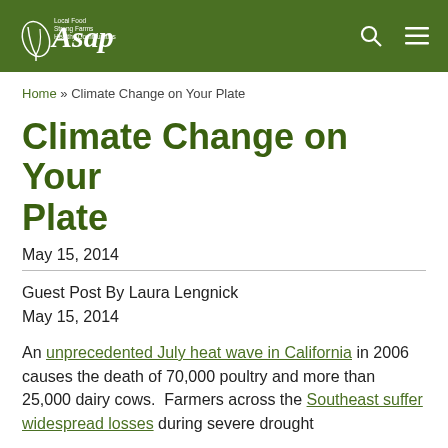ASAP — Local Food Strong Farms Healthy Communities
Home » Climate Change on Your Plate
Climate Change on Your Plate
May 15, 2014
Guest Post By Laura Lengnick
May 15, 2014
An unprecedented July heat wave in California in 2006 causes the death of 70,000 poultry and more than 25,000 dairy cows.  Farmers across the Southeast suffer widespread losses during severe drought